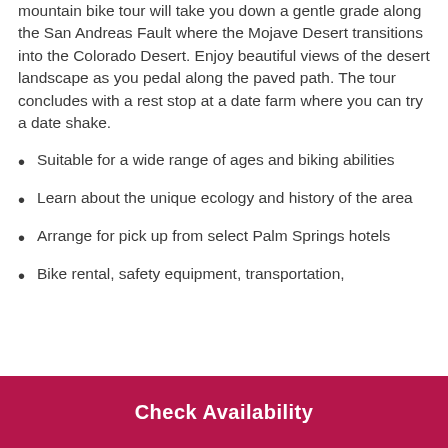mountain bike tour will take you down a gentle grade along the San Andreas Fault where the Mojave Desert transitions into the Colorado Desert. Enjoy beautiful views of the desert landscape as you pedal along the paved path. The tour concludes with a rest stop at a date farm where you can try a date shake.
Suitable for a wide range of ages and biking abilities
Learn about the unique ecology and history of the area
Arrange for pick up from select Palm Springs hotels
Bike rental, safety equipment, transportation,
Check Availability